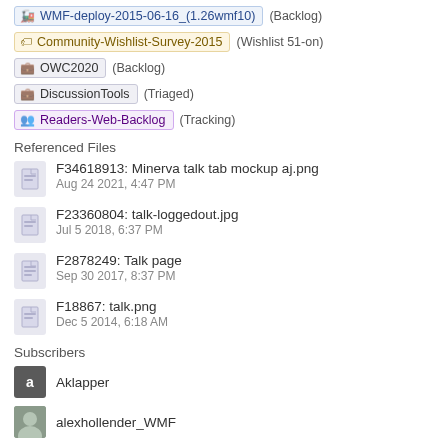WMF-deploy-2015-06-16_(1.26wmf10) (Backlog)
Community-Wishlist-Survey-2015 (Wishlist 51-on)
OWC2020 (Backlog)
DiscussionTools (Triaged)
Readers-Web-Backlog (Tracking)
Referenced Files
F34618913: Minerva talk tab mockup aj.png
Aug 24 2021, 4:47 PM
F23360804: talk-loggedout.jpg
Jul 5 2018, 6:37 PM
F2878249: Talk page
Sep 30 2017, 8:37 PM
F18867: talk.png
Dec 5 2014, 6:18 AM
Subscribers
Aklapper
alexhollender_WMF